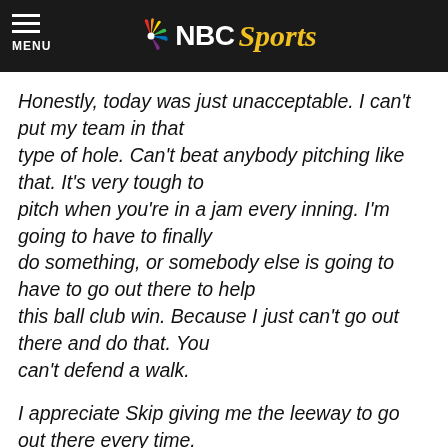NBC Sports
Honestly, today was just unacceptable. I can't put my team in that type of hole. Can't beat anybody pitching like that. It's very tough to pitch when you're in a jam every inning. I'm going to have to finally do something, or somebody else is going to have to go out there to help this ball club win. Because I just can't go out there and do that. You can't defend a walk.
I appreciate Skip giving me the leeway to go out there every time. Every time he gives me leeway, I go one step forward and two steps